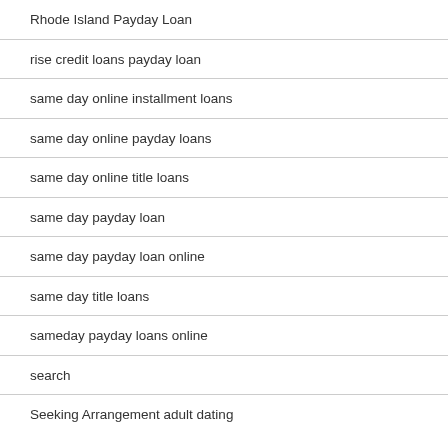Rhode Island Payday Loan
rise credit loans payday loan
same day online installment loans
same day online payday loans
same day online title loans
same day payday loan
same day payday loan online
same day title loans
sameday payday loans online
search
Seeking Arrangement adult dating